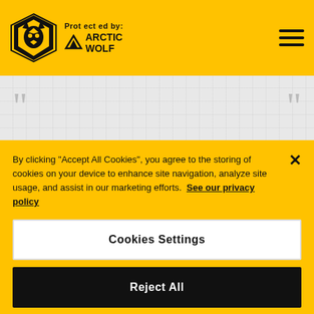Protected by: Arctic Wolf
“It’s a football club on a great, great journey and I’m just privileged to be part of it.”
By clicking “Accept All Cookies”, you agree to the storing of cookies on your device to enhance site navigation, analyze site usage, and assist in our marketing efforts. See our privacy policy
Cookies Settings
Reject All
Accept All Cookies